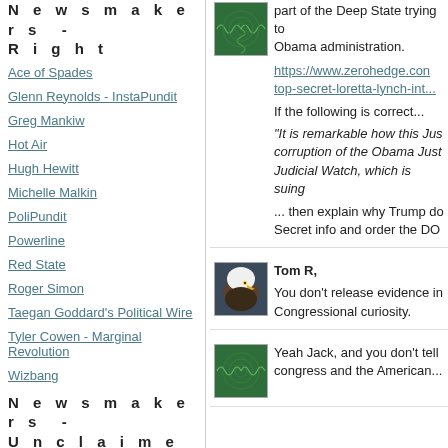Newsmakers - Right
Ace of Spades
Glenn Reynolds - InstaPundit
Greg Mankiw
Hot Air
Hugh Hewitt
Michelle Malkin
PoliPundit
Powerline
Red State
Roger Simon
Taegan Goddard's Political Wire
Tyler Cowen - Marginal Revolution
Wizbang
Newsmakers - Unclaimed
Ann Althouse
KC Johnson / Duke Lacrosse
[Figure (photo): Green swirl/spiral avatar image]
part of the Deep State trying to Obama administration.
https://www.zerohedge.com/top-secret-loretta-lynch-int...
If the following is correct...
“It is remarkable how this Jus corruption of the Obama Just Judicial Watch, which is suing
... then explain why Trump do Secret info and order the DO
[Figure (photo): Bald eagle avatar photo]
Tom R,
You don't release evidence in Congressional curiosity.
[Figure (photo): Green swirl/spiral avatar image]
Yeah Jack, and you don't tell congress and the American...